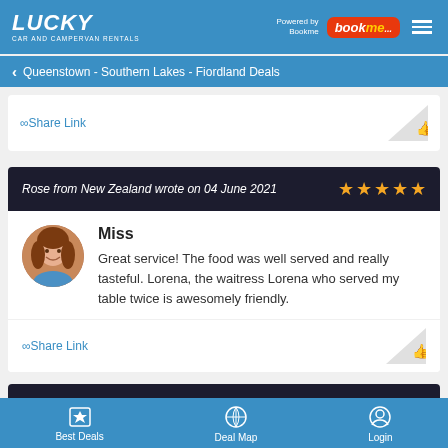LUCKY CAR AND CAMPERVAN RENTALS — Powered by Bookme
Queenstown - Southern Lakes - Fiordland Deals
∞Share Link
Rose from New Zealand wrote on 04 June 2021
Miss
Great service! The food was well served and really tasteful. Lorena, the waitress Lorena who served my table twice is awesomely friendly.
∞Share Link
Best Deals  Deal Map  Login